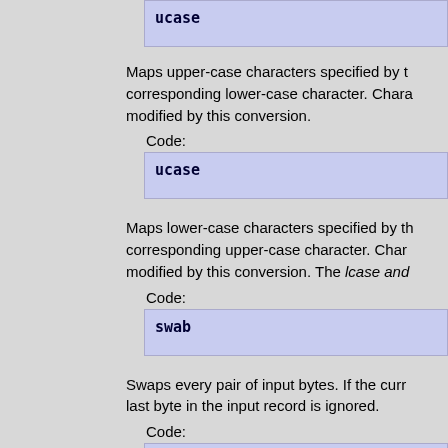Maps upper-case characters specified by the corresponding lower-case character. Characters not modified by this conversion.
Code:
ucase
Maps lower-case characters specified by the corresponding upper-case character. Characters not modified by this conversion. The lcase and
Code:
swab
Swaps every pair of input bytes. If the current last byte in the input record is ignored.
Code:
noerror
Does not stop processing on an input error. A message is written on standard error, followed in the same format as used at completion.
Code: